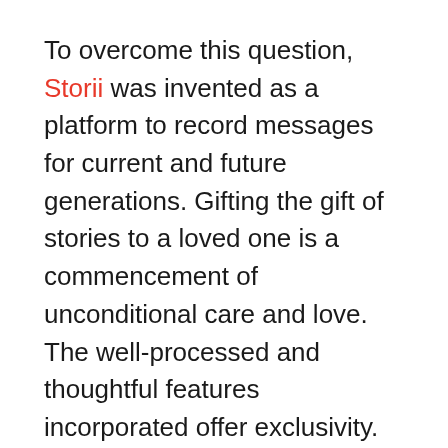To overcome this question, Storii was invented as a platform to record messages for current and future generations. Gifting the gift of stories to a loved one is a commencement of unconditional care and love. The well-processed and thoughtful features incorporated offer exclusivity.
The user can choose desired questions to answer from the curated library or customize the question and edit the order sequence as required. With zero hassles on the internet and smart gadgets, Storii is accessible through a simple house phone. The user can schedule automatic phone calls as per availability or call Storii directly to share life stories. The recordings are transcribed automatically and added to the relevant profiles. There are zero